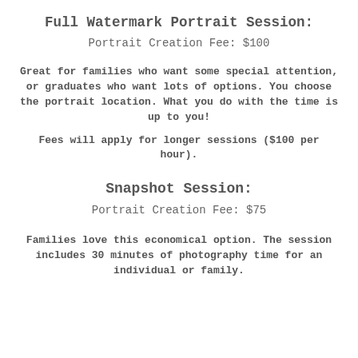Full Watermark Portrait Session:
Portrait Creation Fee: $100
Great for families who want some special attention, or graduates who want lots of options. You choose the portrait location. What you do with the time is up to you!
Fees will apply for longer sessions ($100 per hour).
Snapshot Session:
Portrait Creation Fee: $75
Families love this economical option. The session includes 30 minutes of photography time for an individual or family.